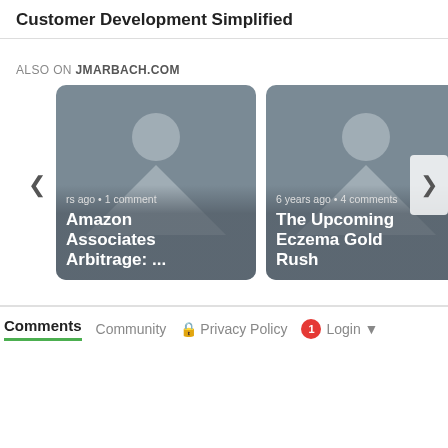Customer Development Simplified
ALSO ON JMARBACH.COM
[Figure (screenshot): Carousel card showing 'Amazon Associates Arbitrage: ...' post with placeholder image, labeled 'rs ago • 1 comment']
[Figure (screenshot): Carousel card showing 'The Upcoming Eczema Gold Rush' post with placeholder image, labeled '6 years ago • 4 comments']
[Figure (screenshot): Partial carousel card on the right edge showing dark image with partial text]
Comments   Community   Privacy Policy   Login
Comments  Community  Privacy Policy  Login